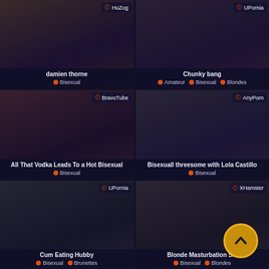[Figure (screenshot): Video thumbnail grid - 6 video cards with thumbnails, titles, tags, and source labels. Card 1: damien thorne, Bisexual, HuZog. Card 2: Chunky bang, Amateur/Bisexual/Blondes, UPornia. Card 3: All That Vodka Leads To a Hot Bisexual, Bisexual, BravoTube. Card 4: Bisexuall threesome with Lola Castillo, Bisexual, AnyPorn. Card 5: Cum Eating Hubby, Bisexual/Brunettes, UPornia. Card 6: Blonde Masturbation S..., Bisexual/Blondes, XHamster.]